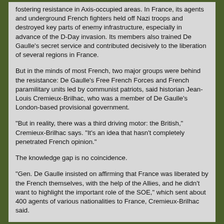fostering resistance in Axis-occupied areas. In France, its agents and underground French fighters held off Nazi troops and destroyed key parts of enemy infrastructure, especially in advance of the D-Day invasion. Its members also trained De Gaulle's secret service and contributed decisively to the liberation of several regions in France.
But in the minds of most French, two major groups were behind the resistance: De Gaulle's Free French Forces and French paramilitary units led by communist patriots, said historian Jean-Louis Cremieux-Brilhac, who was a member of De Gaulle's London-based provisional government.
"But in reality, there was a third driving motor: the British," Cremieux-Brilhac says. "It's an idea that hasn't completely penetrated French opinion."
The knowledge gap is no coincidence.
"Gen. De Gaulle insisted on affirming that France was liberated by the French themselves, with the help of the Allies, and he didn't want to highlight the important role of the SOE," which sent about 400 agents of various nationalities to France, Cremieux-Brilhac said.
Maloubier, born in a Paris suburb and raised by French…